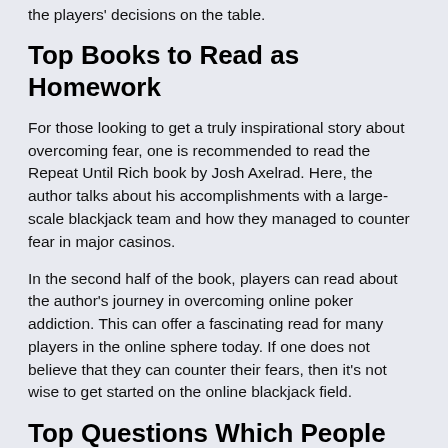the players' decisions on the table.
Top Books to Read as Homework
For those looking to get a truly inspirational story about overcoming fear, one is recommended to read the Repeat Until Rich book by Josh Axelrad. Here, the author talks about his accomplishments with a large-scale blackjack team and how they managed to counter fear in major casinos.
In the second half of the book, players can read about the author's journey in overcoming online poker addiction. This can offer a fascinating read for many players in the online sphere today. If one does not believe that they can counter their fears, then it's not wise to get started on the online blackjack field.
Top Questions Which People